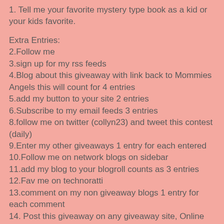1. Tell me your favorite mystery type book as a kid or your kids favorite.
Extra Entries:
2.Follow me
3.sign up for my rss feeds
4.Blog about this giveaway with link back to Mommies Angels this will count for 4 entries
5.add my button to your site 2 entries
6.Subscribe to my email feeds 3 entries
8.follow me on twitter (collyn23) and tweet this contest (daily)
9.Enter my other giveaways 1 entry for each entered
10.Follow me on network blogs on sidebar
11.add my blog to your blogroll counts as 3 entries
12.Fav me on technoratti
13.comment on my non giveaway blogs 1 entry for each comment
14. Post this giveaway on any giveaway site, Online Sweepstakes, Mr Linky, or other networking website-leave the link where I can find it (5 entry for each site)
15. Vote for me on Picket Fences (Daily)